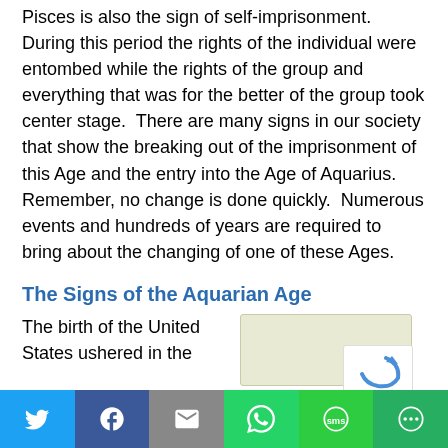Pisces is also the sign of self-imprisonment. During this period the rights of the individual were entombed while the rights of the group and everything that was for the better of the group took center stage.  There are many signs in our society that show the breaking out of the imprisonment of this Age and the entry into the Age of Aquarius.  Remember, no change is done quickly.  Numerous events and hundreds of years are required to bring about the changing of one of these Ages.
The Signs of the Aquarian Age
The birth of the United States ushered in the
[Figure (other): Light green/beige sidebar box, partially visible, with a CAPTCHA overlay in the bottom right corner]
Social sharing bar with Twitter, Facebook, Email, WhatsApp, SMS, and More buttons